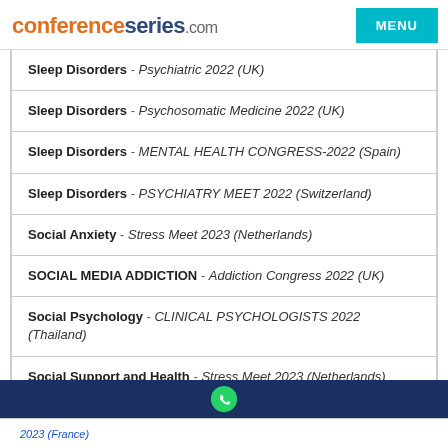conferenceseries.com | MENU
Sleep Disorders - Psychiatric 2022 (UK)
Sleep Disorders - Psychosomatic Medicine 2022 (UK)
Sleep Disorders - MENTAL HEALTH CONGRESS-2022 (Spain)
Sleep Disorders - PSYCHIATRY MEET 2022 (Switzerland)
Social Anxiety - Stress Meet 2023 (Netherlands)
SOCIAL MEDIA ADDICTION - Addiction Congress 2022 (UK)
Social Psychology - CLINICAL PSYCHOLOGISTS 2022 (Thailand)
Social Support and Health - Stress Meet 2023 (Netherlands)
2023 (France)